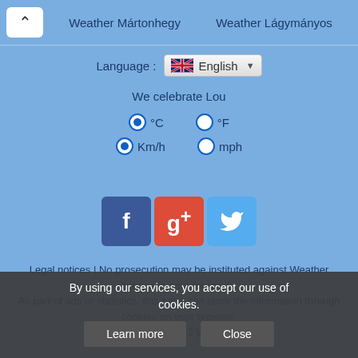Weather Mártonhegy   Weather Lágymányos
Language : English
We celebrate Lou
°C  °F  Km/h  mph
[Figure (other): Social media icons: Facebook (f), Google+ (g+), Twitter (bird)]
Legal notices | No prosecution may be instituted against Weather Avenue in poor forecasts. As part of ads or statistics, this page can store the information through cookies on your browser.
Copyright © 2011-2022 Weather Avenue
Site created with framework WebSite PHP
By using our services, you accept our use of cookies.
Learn more   Close